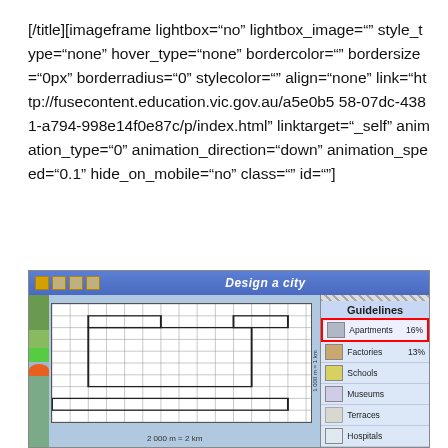[/title][imageframe lightbox="no" lightbox_image="" style_type="none" hover_type="none" bordercolor="" bordersize="0px" borderradius="0" stylecolor="" align="none" link="http://fusecontent.education.vic.gov.au/a5e0b558-07dc-4381-a794-998e14f0e87c/p/index.html" linktarget="_self" animation_type="0" animation_direction="down" animation_speed="0.1" hide_on_mobile="no" class="" id=""]
[Figure (screenshot): Screenshot of 'Design a city' educational application showing a city planning grid with blocks drawn, a scale indicator (1000m = 1km, 2000m = 2km), and a Guidelines panel on the right showing: Apartments 16%, Factories 13%, Schools, Museums, Terraces, Hospitals]